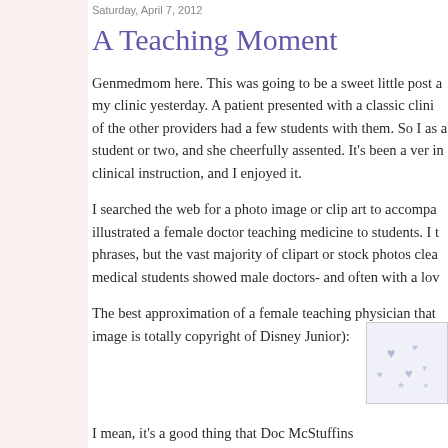Saturday, April 7, 2012
A Teaching Moment
Genmedmom here. This was going to be a sweet little post a my clinic yesterday. A patient presented with a classic clini of the other providers had a few students with them. So I as a student or two, and she cheerfully assented. It's been a ver in clinical instruction, and I enjoyed it.
I searched the web for a photo image or clip art to accompa illustrated a female doctor teaching medicine to students. I t phrases, but the vast majority of clipart or stock photos clea medical students showed male doctors- and often with a lov
The best approximation of a female teaching physician that image is totally copyright of Disney Junior):
[Figure (photo): Partial image of what appears to be a Disney Junior character (Doc McStuffins), showing the edge of an illustrated character with hearts/stars pattern]
I mean, it's a good thing that Doc McStuffins